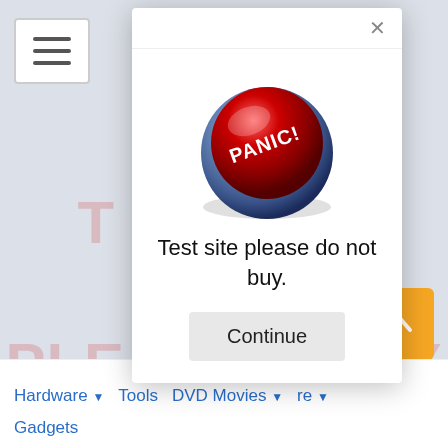[Figure (screenshot): Background of an osCommerce test website showing hamburger menu, watermark text, logo, search bar, and navigation links]
[Figure (other): Modal dialog popup with a red PANIC! button image, text 'Test site please do not buy.' and a Continue button]
Test site please do not buy.
Continue